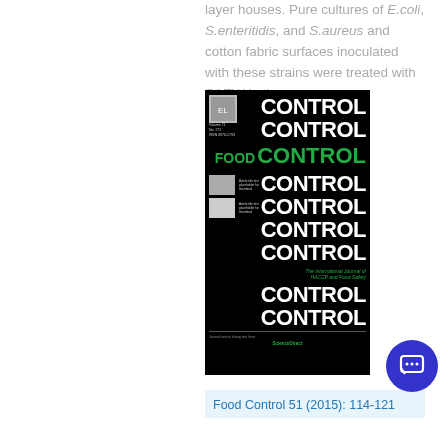layer houses. Pure cultures of E.coli, S.enteritidis, and S.aureus and cotton fabric surfaces inoculated with these strains were treated with SAEW in the pre...
[Figure (photo): Cover image of the journal 'Food Control' Volume 51, showing the journal name repeated in bold white text stacked vertically on a black background, with 'FOOD CONTROL' highlighted in green, Elsevier publisher logo top left, two thumbnail article images on the left, and 'The International Journal of HACCP and Food Safety' subtitle in green.]
Food Control 51 (2015): 114-121